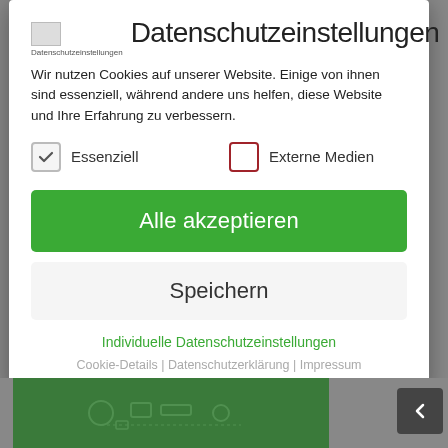Datenschutzeinstellungen
Wir nutzen Cookies auf unserer Website. Einige von ihnen sind essenziell, während andere uns helfen, diese Website und Ihre Erfahrung zu verbessern.
Essenziell
Externe Medien
Alle akzeptieren
Speichern
Individuelle Datenschutzeinstellungen
Cookie-Details | Datenschutzerklärung | Impressum